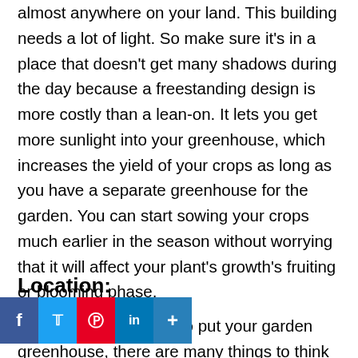almost anywhere on your land. This building needs a lot of light. So make sure it's in a place that doesn't get many shadows during the day because a freestanding design is more costly than a lean-on. It lets you get more sunlight into your greenhouse, which increases the yield of your crops as long as you have a separate greenhouse for the garden. You can start sowing your crops much earlier in the season without worrying that it will affect your plant's growth's fruiting or blooming phase.
Location:
When deciding where to put your garden greenhouse, there are many things to think about.